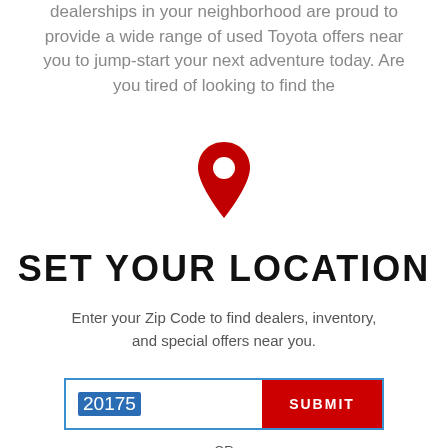dealerships in your neighborhood are proud to provide a wide range of used Toyota offers near you to jump-start your next adventure today. Are you tired of looking to find the
[Figure (illustration): Red map pin / location marker icon]
SET YOUR LOCATION
Enter your Zip Code to find dealers, inventory, and special offers near you.
20175  SUBMIT
OR
FIND A DEALER